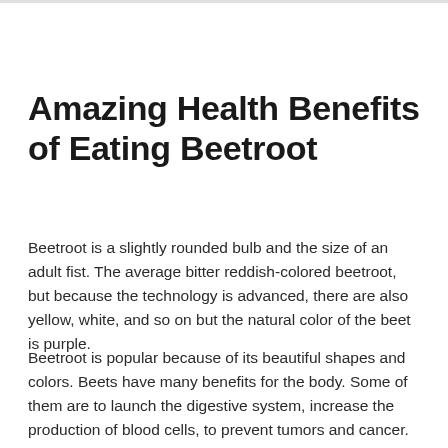Amazing Health Benefits of Eating Beetroot
Beetroot is a slightly rounded bulb and the size of an adult fist. The average bitter reddish-colored beetroot, but because the technology is advanced, there are also yellow, white, and so on but the natural color of the beet is purple.
Beetroot is popular because of its beautiful shapes and colors. Beets have many benefits for the body. Some of them are to launch the digestive system, increase the production of blood cells, to prevent tumors and cancer. The benefits of the complete bit of fruit can be found below: